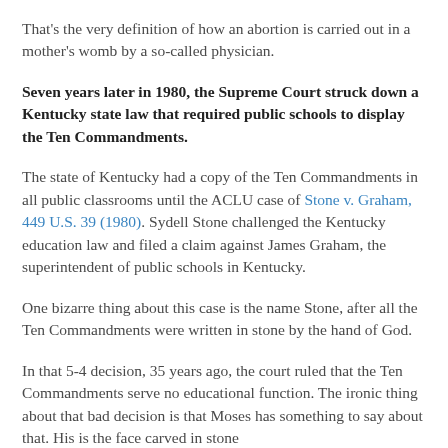That's the very definition of how an abortion is carried out in a mother's womb by a so-called physician.
Seven years later in 1980, the Supreme Court struck down a Kentucky state law that required public schools to display the Ten Commandments.
The state of Kentucky had a copy of the Ten Commandments in all public classrooms until the ACLU case of Stone v. Graham, 449 U.S. 39 (1980). Sydell Stone challenged the Kentucky education law and filed a claim against James Graham, the superintendent of public schools in Kentucky.
One bizarre thing about this case is the name Stone, after all the Ten Commandments were written in stone by the hand of God.
In that 5-4 decision, 35 years ago, the court ruled that the Ten Commandments serve no educational function. The ironic thing about that bad decision is that Moses has something to say about that. His is the face carved in stone